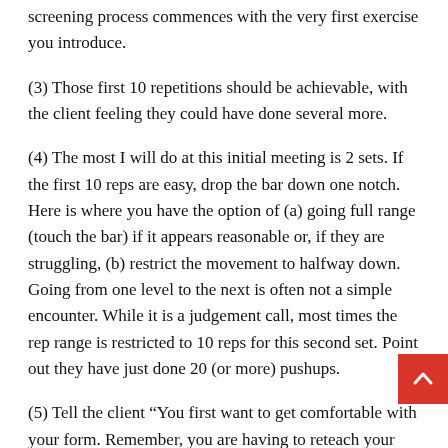screening process commences with the very first exercise you introduce.
(3) Those first 10 repetitions should be achievable, with the client feeling they could have done several more.
(4) The most I will do at this initial meeting is 2 sets. If the first 10 reps are easy, drop the bar down one notch. Here is where you have the option of (a) going full range (touch the bar) if it appears reasonable or, if they are struggling, (b) restrict the movement to halfway down. Going from one level to the next is often not a simple encounter. While it is a judgement call, most times the rep range is restricted to 10 reps for this second set. Point out they have just done 20 (or more) pushups.
(5) Tell the client “You first want to get comfortable with your form. Remember, you are having to reteach your body how to function as a unit. Your muscles’ reaction tomorrow will ‘tell the tale’”. You are in no hurry. Your first charge is to make the client